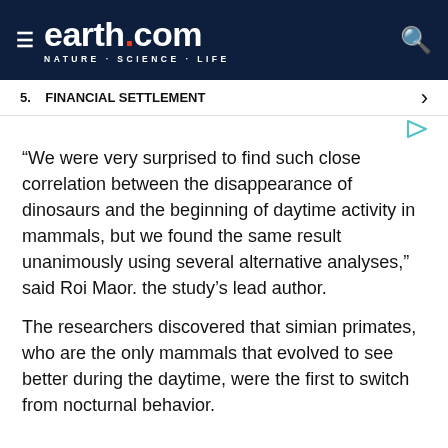earth.com — NATURE · SCIENCE · LIFE
5.   FINANCIAL SETTLEMENT
“We were very surprised to find such close correlation between the disappearance of dinosaurs and the beginning of daytime activity in mammals, but we found the same result unanimously using several alternative analyses,” said Roi Maor. the study’s lead author.
The researchers discovered that simian primates, who are the only mammals that evolved to see better during the daytime, were the first to switch from nocturnal behavior.